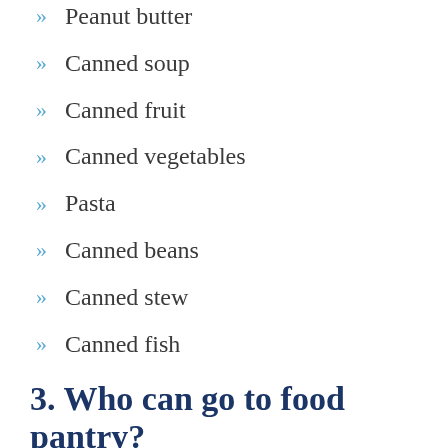Peanut butter
Canned soup
Canned fruit
Canned vegetables
Pasta
Canned beans
Canned stew
Canned fish
3. Who can go to food pantry?
At the majority of food pantries, eligibility is based on self-attested need. You do not need to